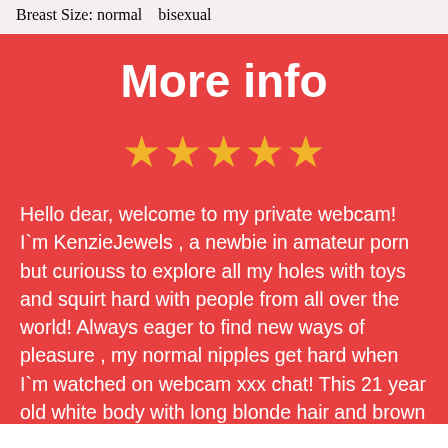Breast Size: normal   bisexual
More info
★★★★★
Hello dear, welcome to my private webcam! I`m KenzieJewels , a newbie in amateur porn but curiouss to explore all my holes with toys and squirt hard with people from all over the world! Always eager to find new ways of pleasure , my normal nipples get hard when I`m watched on webcam xxx chat! This 21 year old white body with long blonde hair and brown eyes is here to masturbate in VIP show with toys and finger all my holes! My pussy wants to squirt with you! Rate and download all my free videos and pics gallery as I interact with you naked in xxx hardcore